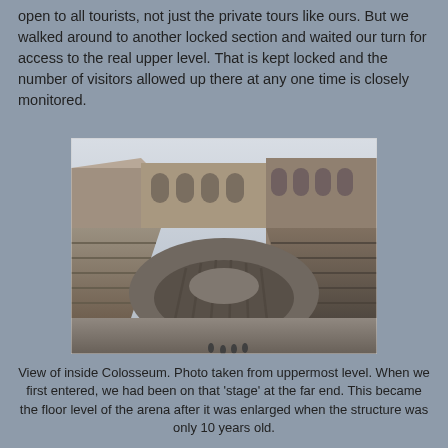open to all tourists, not just the private tours like ours.  But we walked around to another locked section and waited our turn for access to the real upper level.  That is kept locked and the number of visitors allowed up there at any one time is closely monitored.
[Figure (photo): Interior view of the Colosseum in Rome, taken from the uppermost level, showing the elliptical arena floor, the hypogeum (underground chambers), tiered seating, and ancient stone arches.]
View of inside Colosseum.  Photo taken from uppermost level.  When we first entered, we had been on that 'stage' at the far end.  This became the floor level of the arena after it was enlarged when the structure was only 10 years old.